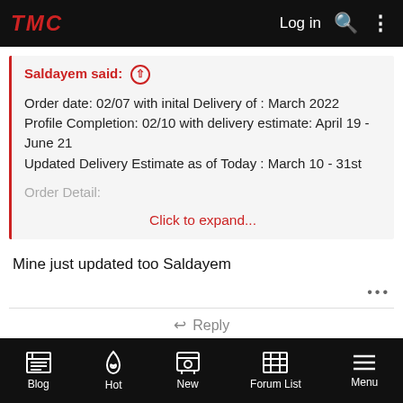TMC | Log in
Saldayem said: ↑
Order date: 02/07 with inital Delivery of : March 2022
Profile Completion: 02/10 with delivery estimate: April 19 - June 21
Updated Delivery Estimate as of Today : March 10 - 31st
Order Detail:
Click to expand...
Mine just updated too Saldayem
Blog | Hot | New | Forum List | Menu